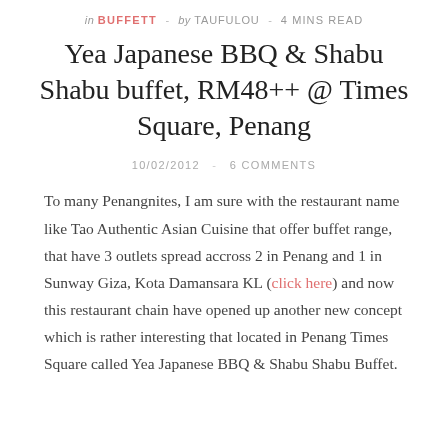in BUFFETT - by TAUFULOU - 4 MINS READ
Yea Japanese BBQ & Shabu Shabu buffet, RM48++ @ Times Square, Penang
10/02/2012  -  6 COMMENTS
To many Penangnites, I am sure with the restaurant name like Tao Authentic Asian Cuisine that offer buffet range, that have 3 outlets spread accross 2 in Penang and 1 in Sunway Giza, Kota Damansara KL (click here) and now this restaurant chain have opened up another new concept which is rather interesting that located in Penang Times Square called Yea Japanese BBQ & Shabu Shabu Buffet.